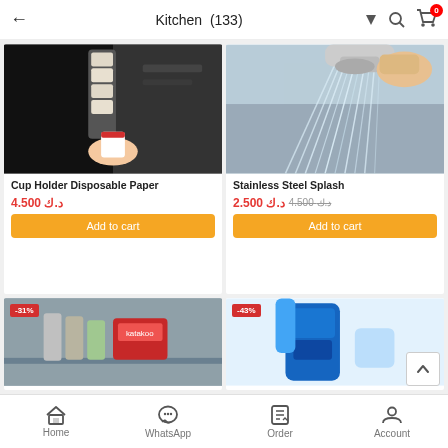Kitchen (133)
[Figure (photo): Cup holder dispensing a disposable paper cup from a wall-mounted dispenser near a black appliance, hand pulling a white/red paper cup]
Cup Holder Disposable Paper
4.500 د.ك
Add to cart
[Figure (photo): Stainless steel splash guard / faucet aerator attachment with water streaming from it over a sink]
Stainless Steel Splash
2.500 د.ك  4.500 د.ك
Add to cart
[Figure (photo): Kitchen storage items including foil rolls and a red/green packaged box on a gray shelf, with -31% discount badge]
[Figure (photo): Blue cleaning/kitchen product with -43% discount badge]
Home  WhatsApp  Order  Account